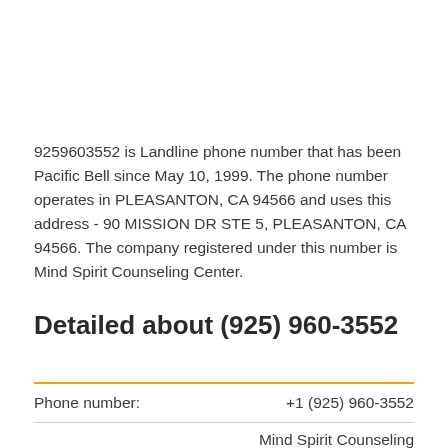9259603552 is Landline phone number that has been Pacific Bell since May 10, 1999. The phone number operates in PLEASANTON, CA 94566 and uses this address - 90 MISSION DR STE 5, PLEASANTON, CA 94566. The company registered under this number is Mind Spirit Counseling Center.
Detailed about (925) 960-3552
|  |  |
| --- | --- |
| Phone number: | +1 (925) 960-3552 |
|  | Mind Spirit Counseling |